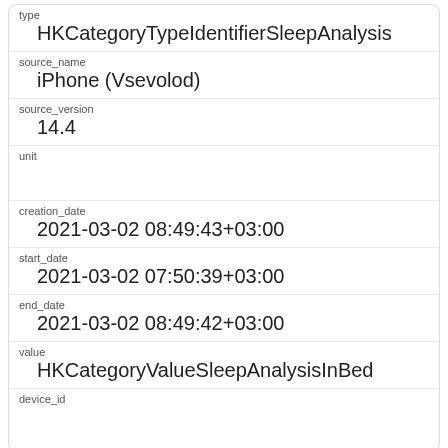| field | value |
| --- | --- |
| type | HKCategoryTypeIdentifierSleepAnalysis |
| source_name | iPhone (Vsevolod) |
| source_version | 14.4 |
| unit |  |
| creation_date | 2021-03-02 08:49:43+03:00 |
| start_date | 2021-03-02 07:50:39+03:00 |
| end_date | 2021-03-02 08:49:42+03:00 |
| value | HKCategoryValueSleepAnalysisInBed |
| device_id |  |
| field | value |
| --- | --- |
| id | 364394 |